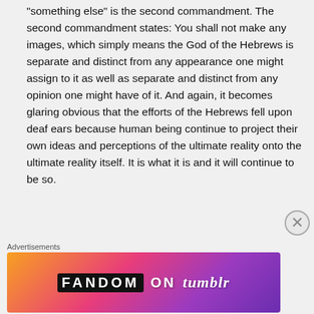'something else' is the second commandment. The second commandment states: You shall not make any images, which simply means the God of the Hebrews is separate and distinct from any appearance one might assign to it as well as separate and distinct from any opinion one might have of it. And again, it becomes glaring obvious that the efforts of the Hebrews fell upon deaf ears because human being continue to project their own ideas and perceptions of the ultimate reality onto the ultimate reality itself. It is what it is and it will continue to be so.
Advertisements
[Figure (other): Fandom on Tumblr advertisement banner with colorful gradient background (orange to pink to purple)]